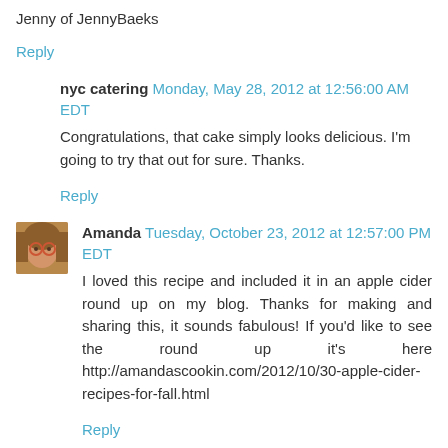Jenny of JennyBaeks
Reply
nyc catering  Monday, May 28, 2012 at 12:56:00 AM EDT
Congratulations, that cake simply looks delicious. I'm going to try that out for sure. Thanks.
Reply
Amanda  Tuesday, October 23, 2012 at 12:57:00 PM EDT
I loved this recipe and included it in an apple cider round up on my blog. Thanks for making and sharing this, it sounds fabulous! If you'd like to see the round up it's here http://amandascookin.com/2012/10/30-apple-cider-recipes-for-fall.html
Reply
Anonymous  Friday, August 2, 2013 at 7:43:00 AM EDT